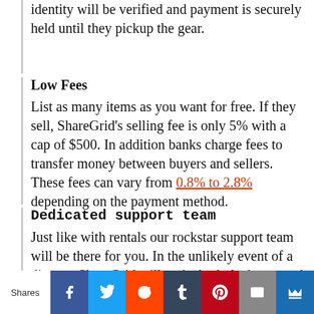identity will be verified and payment is securely held until they pickup the gear.
Low Fees
List as many items as you want for free. If they sell, ShareGrid's selling fee is only 5% with a cap of $500. In addition banks charge fees to transfer money between buyers and sellers. These fees can vary from 0.8% to 2.8% depending on the payment method.
Dedicated support team
Just like with rentals our rockstar support team will be there for you. In the unlikely event of a dispute, ShareGrid will assist both the buyer and seller to help come to a fair resolution.
Shares | Facebook | Twitter | Reddit | Tumblr | Pinterest | Email | More